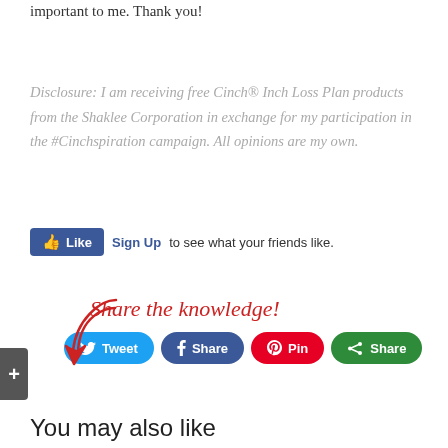important to me. Thank you!
Disclosure: I am receiving free Cinch® Inch Loss Plan products from the Shaklee Corporation in exchange for my participation in the #Cinchspiration campaign. All opinions are my own.
[Figure (screenshot): Facebook Like button with 'Sign Up to see what your friends like.' text]
[Figure (infographic): Share the knowledge! banner with arrow and social share buttons: Tweet, Share (Facebook), Pin (Pinterest), Share (green)]
You may also like